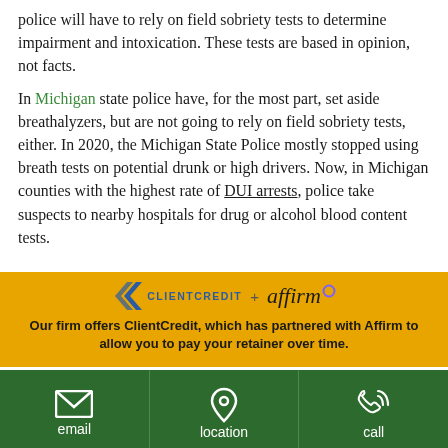police will have to rely on field sobriety tests to determine impairment and intoxication. These tests are based in opinion, not facts.
In Michigan state police have, for the most part, set aside breathalyzers, but are not going to rely on field sobriety tests, either. In 2020, the Michigan State Police mostly stopped using breath tests on potential drunk or high drivers. Now, in Michigan counties with the highest rate of DUI arrests, police take suspects to nearby hospitals for drug or alcohol blood content tests.
[Figure (infographic): ClientCredit + Affirm banner advertisement. Text: Our firm offers ClientCredit, which has partnered with Affirm to allow you to pay your retainer over time.]
click to learn more
for fatal or serious-injury accidents
email | location | call